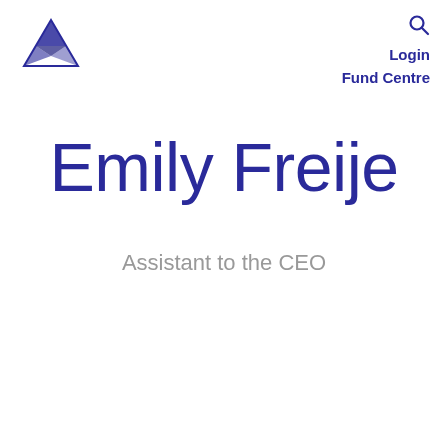Login Fund Centre
[Figure (logo): Blue geometric diamond/pyramid logo in top left corner]
Emily Freije
Assistant to the CEO